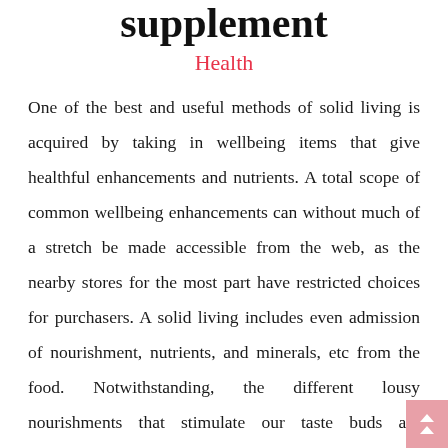supplement
Health
One of the best and useful methods of solid living is acquired by taking in wellbeing items that give healthful enhancements and nutrients. A total scope of common wellbeing enhancements can without much of a stretch be made accessible from the web, as the nearby stores for the most part have restricted choices for purchasers. A solid living includes even admission of nourishment, nutrients, and minerals, etc from the food. Notwithstanding, the different lousy nourishments that stimulate our taste buds are commonly not dietary and along these lines, there is a need to acquire the basic supplements through characteristic wellbeing